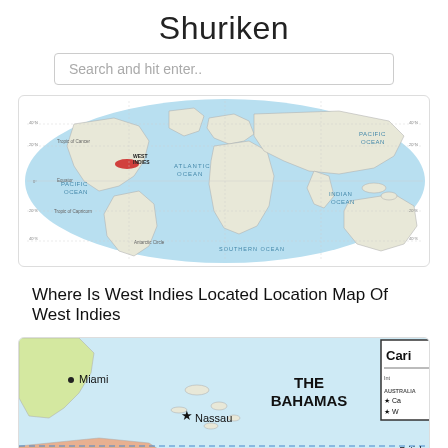Shuriken
Search and hit enter..
[Figure (map): World map showing the location of West Indies highlighted in red in the Caribbean region, with ocean labels: Atlantic Ocean, Pacific Ocean, Indian Ocean, Southern Ocean. Grid lines and geographic labels including Tropic of Cancer, Equator, Tropic of Capricorn, Antarctic Circle.]
Where Is West Indies Located Location Map Of West Indies
[Figure (map): Caribbean map showing Miami, Nassau, The Bahamas, Cuba, Turks and Caicos Islands (U.K.), Virgin Islands (U.S.), British Virgin Islands (U.K.), and a partially visible legend box labeled 'Cari' in the top right corner.]